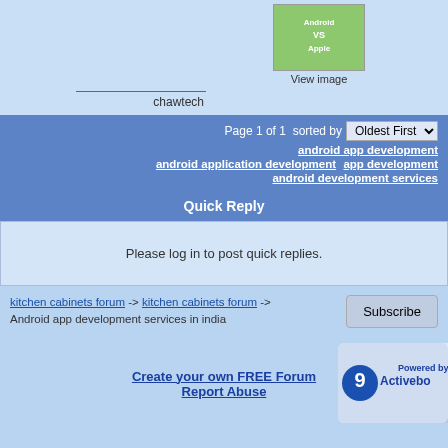[Figure (photo): Android vs Apple image thumbnail]
View image
chawtech
Page 1 of 1  sorted by  Oldest First
android app development  android application development  app development  android development services
Quick Reply
Please log in to post quick replies.
kitchen cabinets forum -> kitchen cabinets forum -> Android app development services in india
Create your own FREE Forum
Report Abuse